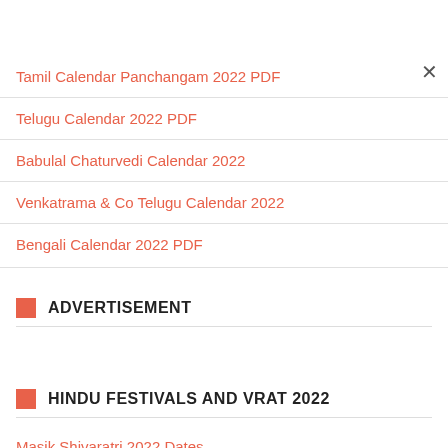Tamil Calendar Panchangam 2022 PDF
Telugu Calendar 2022 PDF
Babulal Chaturvedi Calendar 2022
Venkatrama & Co Telugu Calendar 2022
Bengali Calendar 2022 PDF
ADVERTISEMENT
HINDU FESTIVALS AND VRAT 2022
Masik Shivaratri 2022 Dates